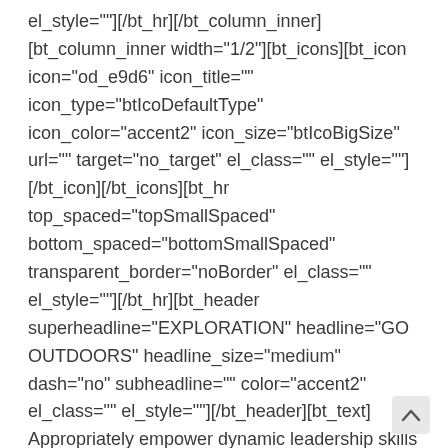el_style=""][/bt_hr][/bt_column_inner][bt_column_inner width="1/2"][bt_icons][bt_icon icon="od_e9d6" icon_title="" icon_type="btIcoDefaultType" icon_color="accent2" icon_size="btIcoBigSize" url="" target="no_target" el_class="" el_style=""][/bt_icon][/bt_icons][bt_hr top_spaced="topSmallSpaced" bottom_spaced="bottomSmallSpaced" transparent_border="noBorder" el_class="" el_style=""][/bt_hr][bt_header superheadline="EXPLORATION" headline="GO OUTDOORS" headline_size="medium" dash="no" subheadline="" color="accent2" el_class="" el_style=""][/bt_header][bt_text] Appropriately empower dynamic leadership skills after business portals. Globally myocardinate interactive supply chains with distinctive quality vectors. Globally revolutionize global sources.